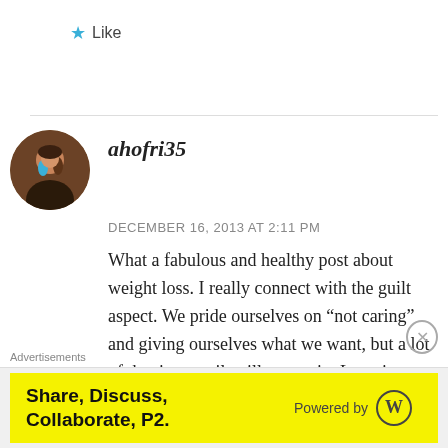★ Like
ahofri35
DECEMBER 16, 2013 AT 2:11 PM
What a fabulous and healthy post about weight loss. I really connect with the guilt aspect. We pride ourselves on “not caring” and giving ourselves what we want, but a lot of the times guilt still creeps in. Learning to manage that in a healthy and positive way is awesome. Thanks
Advertisements
Share, Discuss, Collaborate, P2.
Powered by